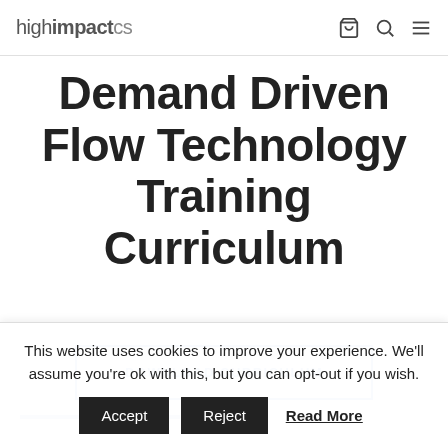highimpactcs
Demand Driven Flow Technology Training Curriculum
DOWNLOAD CURRICULUM
This website uses cookies to improve your experience. We'll assume you're ok with this, but you can opt-out if you wish.
Accept  Reject  Read More